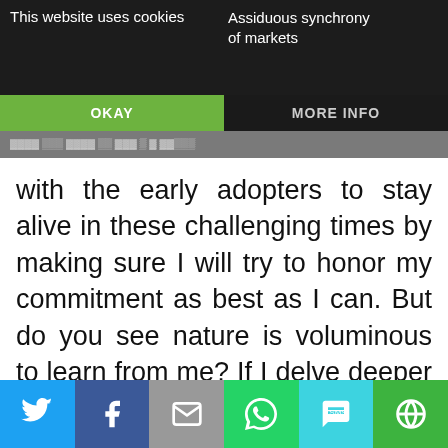This website uses cookies | Assiduous synchrony of markets
with the early adopters to stay alive in these challenging times by making sure I will try to honor my commitment as best as I can. But do you see nature is voluminous to learn from me? If I delve deeper into nature, I might write certain times more than four days a week; I presume it could be voluminous writing. Certain times I might limit to 2days a week. Do you see my spiritual practice might be intensive but not outright? If you want to travel in my take-through journey, whether right or wrong, I wish
Twitter | Facebook | Email | WhatsApp | SMS | Other